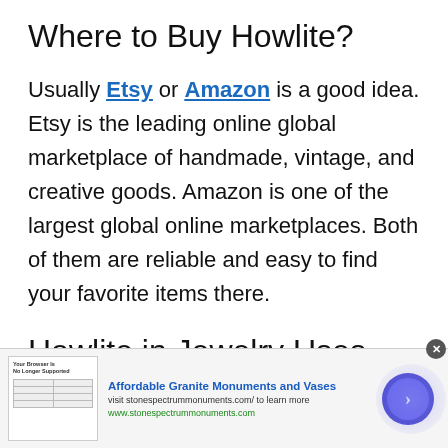Where to Buy Howlite?
Usually Etsy or Amazon is a good idea. Etsy is the leading online global marketplace of handmade, vintage, and creative goods. Amazon is one of the largest global online marketplaces. Both of them are reliable and easy to find your favorite items there.
Howlite in Jewelry Uses
Howlite has unclear cleavage due to which
[Figure (screenshot): Advertisement banner for Affordable Granite Monuments and Vases from stonespectrummonuments.com, with a blue call-to-action arrow button and a close (x) button.]